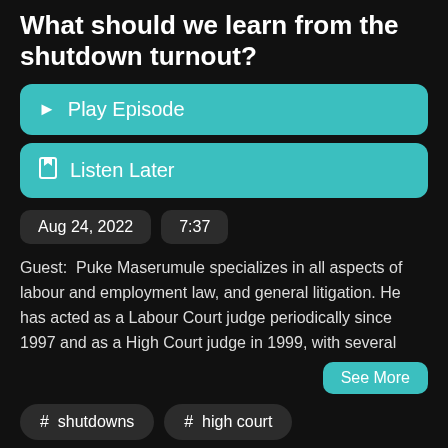What should we learn from the shutdown turnout?
▶ Play Episode
🔖 Listen Later
Aug 24, 2022   7:37
Guest:  Puke Maserumule specializes in all aspects of labour and employment law, and general litigation. He has acted as a Labour Court judge periodically since 1997 and as a High Court judge in 1999, with several
See More
# shutdowns
# high court
# turnout
# labour court